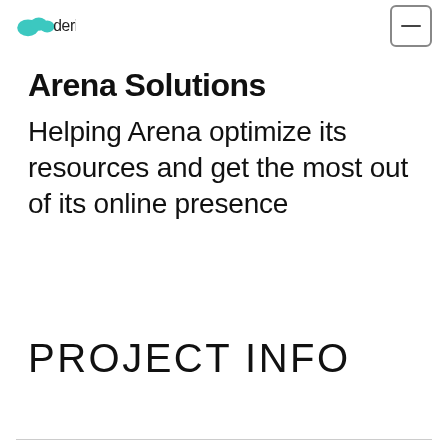derive [logo] [hamburger menu]
Arena Solutions
Helping Arena optimize its resources and get the most out of its online presence
PROJECT INFO